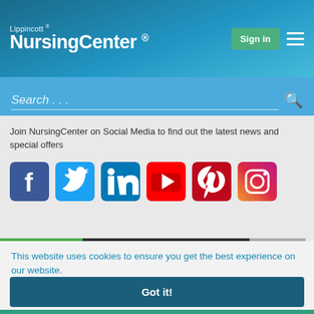Lippincott® NursingCenter®
Search ...
Join NursingCenter on Social Media to find out the latest news and special offers
[Figure (infographic): Six social media icons: Facebook (blue), Twitter (light blue), LinkedIn (blue), YouTube (red), Pinterest (red), Instagram (gradient)]
This website uses cookies to ensure you get the best experience on our website. Learn more
Got it!